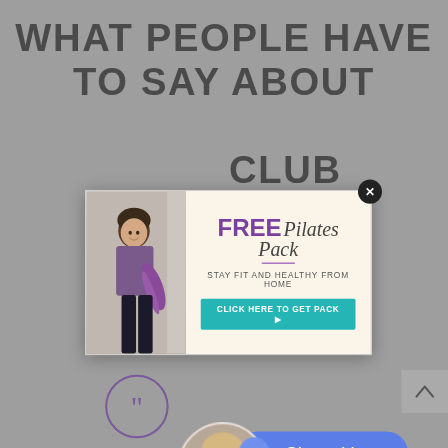WHAT PEOPLE HAVE TO SAY ABOUT [CLUB]
[Figure (infographic): Popup advertisement overlay showing a woman holding a purple yoga mat next to text promoting a FREE Pilates Pack with tagline STAY FIT AND HEALTHY FROM HOME and a CLICK HERE TO GET PACK button. A close (X) button appears in top-right corner.]
[Figure (other): Purple quotation mark icon (double closing quotes) in a circle outline]
[Figure (photo): Circular avatar photo of a blonde woman]
Chat with us